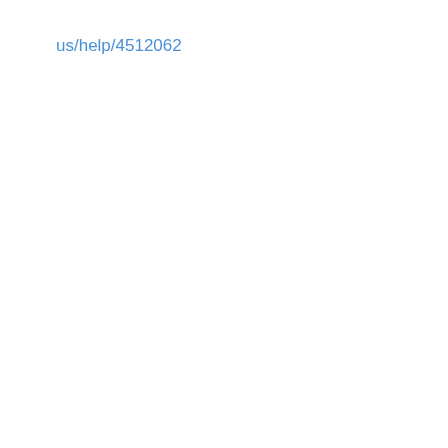us/help/4512062
[Figure (screenshot): A video player placeholder showing 'No compatible source was found for this media.' with grayed-out playback control icons (rewind, play button in circle, fast-forward) and an X symbol, on a light gray background.]